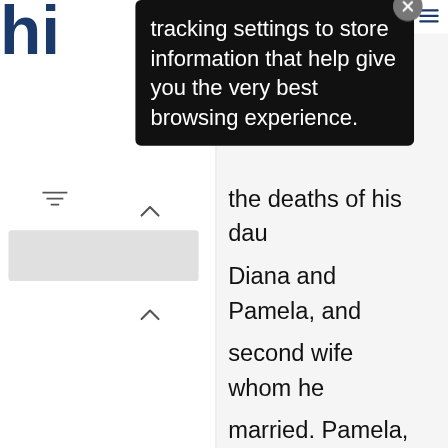[Figure (screenshot): Screenshot of a website with a cookie/tracking consent popup overlay in dark background. The popup reads: 'tracking settings to store information that help give you the very best browsing experience.' with a close (X) button. Behind it, partial blue website logo letters 'hi' visible top-left, hamburger menu icon top-right, sidebar with filter icon and chevron arrows on the left, main article text partially visible reading: 'the deaths of his dau Diana and Pamela, and second wife whom he married. Pamela, a pro poet, perished in a fall cliff.' Action buttons (save, email, share) visible at bottom-right.]